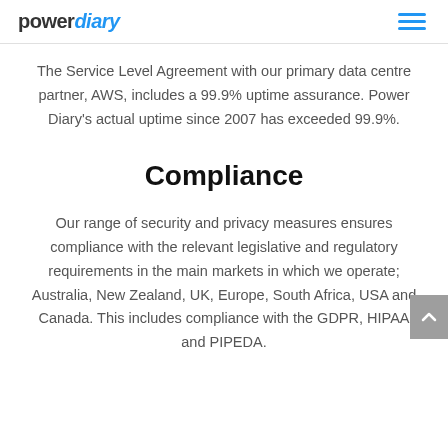powerdiary
The Service Level Agreement with our primary data centre partner, AWS, includes a 99.9% uptime assurance. Power Diary's actual uptime since 2007 has exceeded 99.9%.
Compliance
Our range of security and privacy measures ensures compliance with the relevant legislative and regulatory requirements in the main markets in which we operate; Australia, New Zealand, UK, Europe, South Africa, USA and Canada. This includes compliance with the GDPR, HIPAA and PIPEDA.